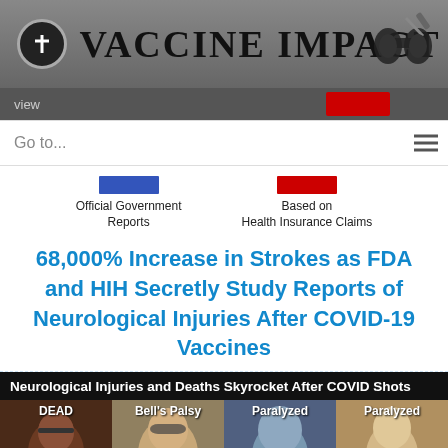[Figure (logo): Vaccine Impact website banner with cross logo icon, bold serif title 'VACCINE IMPACT', and binoculars/syringe icon on right]
Go to...
[Figure (infographic): Two category buttons: blue rectangle labeled 'Official Government Reports' and red rectangle labeled 'Based on Health Insurance Claims']
68,000% Increase in Strokes as FDA and HIH Secretly Study Reports of Neurological Injuries After COVID-19 Vaccines
[Figure (photo): Black background image with header 'Neurological Injuries and Deaths Skyrocket After COVID Shots'. Four photos of people labeled DEAD/Stroke, Bell's Palsy/Stroke, Paralyzed/Stroke, Paralyzed/4 Strokes]